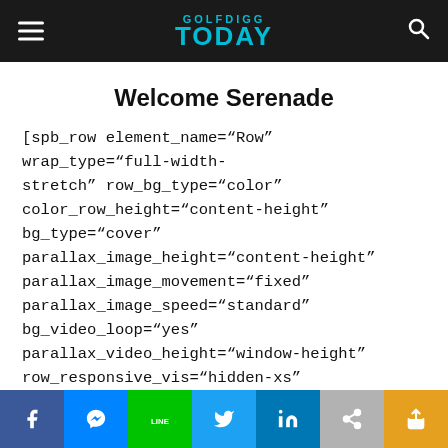GOLFDIGG TODAY
Welcome Serenade
[spb_row element_name="Row" wrap_type="full-width-stretch" row_bg_type="color" color_row_height="content-height" bg_type="cover" parallax_image_height="content-height" parallax_image_movement="fixed" parallax_image_speed="standard" bg_video_loop="yes" parallax_video_height="window-height" row_responsive_vis="hidden-xs" row_top_style="none" row_bottom_style="none" parallax_video_overlay="none" row_overlay_opacity="0" remove_element_spacing="yes" row_col_spacing="0" row_col_pos="default" row_col_equal_heights="no"
Social share bar: Facebook, Messenger, LINE, Twitter, LinkedIn, Link, Share